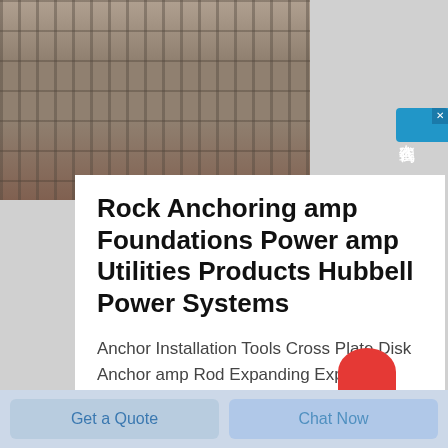[Figure (photo): Construction site photo showing rock anchoring rods embedded in concrete foundation]
Rock Anchoring amp Foundations Power amp Utilities Products Hubbell Power Systems
Anchor Installation Tools Cross Plate Disk Anchor amp Rod Expanding Expanding Plate Anchor Rod amp Extension View All Anchor Rock 1 75in X 15in 3 4in Rod By CHANCE Utility Catalog ID R315 0 75 quot 19 1 mm Diameter Rod 15 quot 381 mm
[Figure (other): Chinese online consultation sidebar widget with text 在线咨询]
Get a Quote
Chat Now